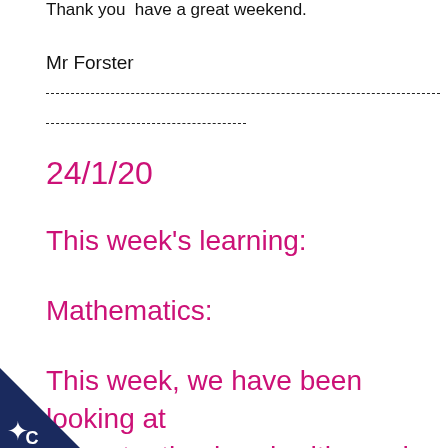Thank you  have a great weekend.
Mr Forster
24/1/20
This week's learning:
Mathematics:
This week, we have been looking at ones, tenths, hundredths and
[Figure (logo): Dark blue triangular badge with white star/cog icon in bottom-left corner]